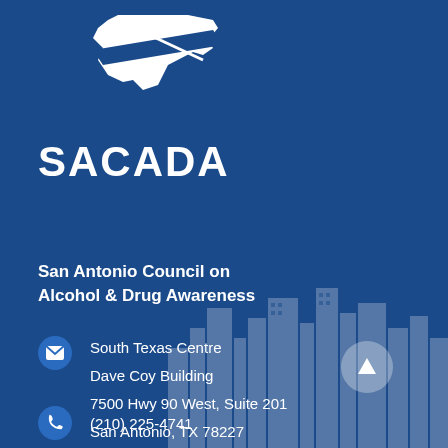[Figure (logo): SACADA white logo with Texas state silhouette and diagonal road/banner shape]
SACADA
San Antonio Council on Alcohol & Drug Awareness
South Texas Centre
Dave Coy Building
7500 Hwy 90 West, Suite 201
San Antonio, TX 78227
(210) 225-4741
[Figure (photo): City skyline of San Antonio watermark in background, semi-transparent]